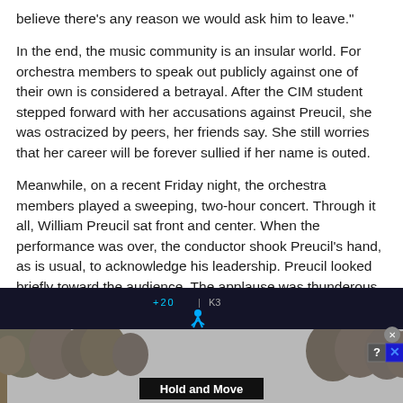believe there's any reason we would ask him to leave."
In the end, the music community is an insular world. For orchestra members to speak out publicly against one of their own is considered a betrayal. After the CIM student stepped forward with her accusations against Preucil, she was ostracized by peers, her friends say. She still worries that her career will be forever sullied if her name is outed.
Meanwhile, on a recent Friday night, the orchestra members played a sweeping, two-hour concert. Through it all, William Preucil sat front and center. When the performance was over, the conductor shook Preucil's hand, as is usual, to acknowledge his leadership. Preucil looked briefly toward the audience. The applause was thunderous.
[Figure (screenshot): Advertisement banner at bottom of page showing a dark panel with blue text and icons reading '+20' and 'K3', a walking person icon in blue, trees in background, and 'Hold and Move' label. Has a close X button and help/X buttons in top right corner.]